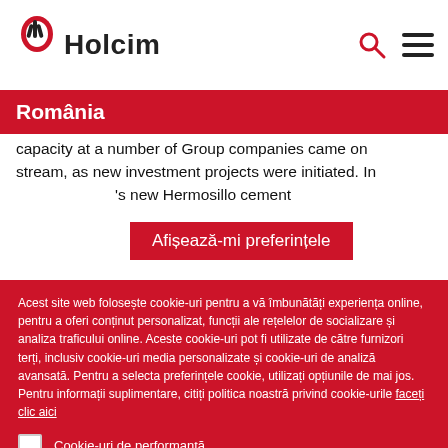[Figure (logo): Holcim logo with red and black hand/tool icon and 'Holcim' wordmark]
România
capacity at a number of Group companies came on stream, as new investment projects were initiated. In ... 's new Hermosillo cement
Afișează-mi preferințele
Acest site web folosește cookie-uri pentru a vă îmbunătăți experiența online, pentru a oferi conținut personalizat, funcții ale rețelelor de socializare și analiza traficului online. Aceste cookie-uri pot fi utilizate de către furnizori terți, inclusiv cookie-uri media personalizate și cookie-uri de analiză avansată. Pentru a selecta preferințele cookie, utilizați opțiunile de mai jos. Pentru informații suplimentare, citiți politica noastră privind cookie-urile faceți clic aici
Cookie-uri de performanță
Cookie-uri funcționale
Cookie-uri de direcționare
Cookie-uri de social media
Salvați-mi preferințele
Acceptați toate cookie-urile